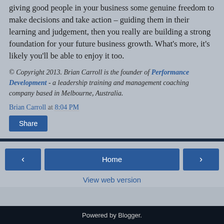giving good people in your business some genuine freedom to make decisions and take action – guiding them in their learning and judgement, then you really are building a strong foundation for your future business growth. What's more, it's likely you'll be able to enjoy it too.
© Copyright 2013. Brian Carroll is the founder of Performance Development - a leadership training and management coaching company based in Melbourne, Australia.
Brian Carroll at 8:04 PM
Share
Home
View web version
Powered by Blogger.